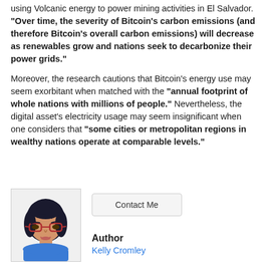using Volcanic energy to power mining activities in El Salvador. "Over time, the severity of Bitcoin's carbon emissions (and therefore Bitcoin's overall carbon emissions) will decrease as renewables grow and nations seek to decarbonize their power grids."
Moreover, the research cautions that Bitcoin's energy use may seem exorbitant when matched with the "annual footprint of whole nations with millions of people." Nevertheless, the digital asset's electricity usage may seem insignificant when one considers that "some cities or metropolitan regions in wealthy nations operate at comparable levels."
[Figure (illustration): Illustrated avatar of a woman with dark hair and red-rimmed glasses, wearing a blue top]
Contact Me
Author
Kelly Cromley